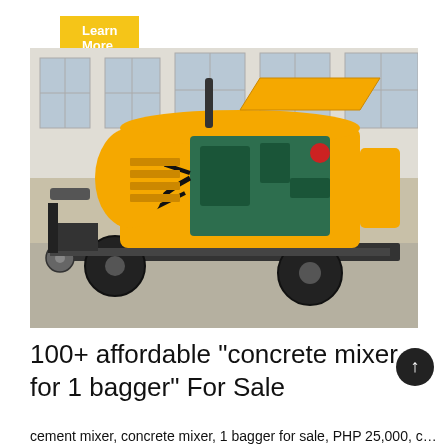Learn More
[Figure (photo): Yellow concrete pump/mixer machine on a trailer with a green engine visible under an open hood, photographed in an industrial building with large windows.]
100+ affordable "concrete mixer for 1 bagger" For Sale
cement mixer, concrete mixer, 1 bagger for sale, PHP 25,000, concrete